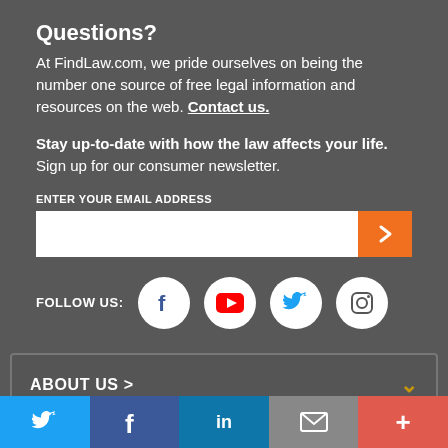Questions?
At FindLaw.com, we pride ourselves on being the number one source of free legal information and resources on the web. Contact us.
Stay up-to-date with how the law affects your life. Sign up for our consumer newsletter.
ENTER YOUR EMAIL ADDRESS
[Figure (other): Email input field with orange submit arrow button]
FOLLOW US:
[Figure (other): Social media icons: Facebook, YouTube, Twitter, Instagram in white circles]
ABOUT US >
[Figure (other): Bottom share bar with Twitter, Facebook, LinkedIn, Email, and More buttons]